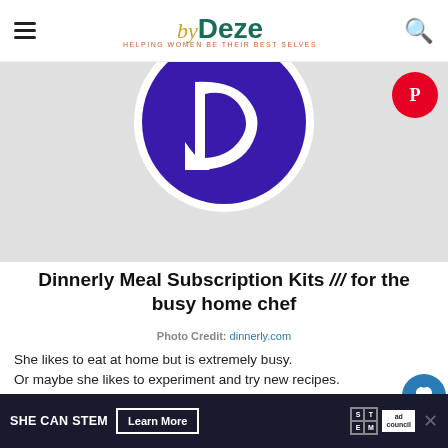byDeze — Helping Women Be Their Best Selves
[Figure (logo): Dinnerly purple circular logo with white D letter mark, partially visible at top center of page]
Dinnerly Meal Subscription Kits /// for the busy home chef
Photo Credit: dinnerly.com
She likes to eat at home but is extremely busy. Or maybe she likes to experiment and try new recipes.
A meal subscription service is the key to both of those scenarios. With a Dinnerly subscription, you get her pre-portioned meal kits that take 30 minutes or less to
SHE CAN STEM  Learn More  [Ad Council]